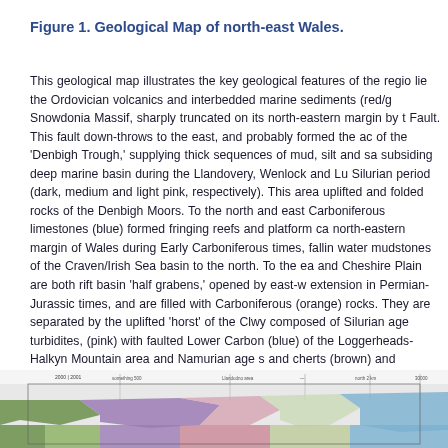Figure 1. Geological Map of north-east Wales.
This geological map illustrates the key geological features of the region. lie the Ordovician volcanics and interbedded marine sediments (red/g Snowdonia Massif, sharply truncated on its north-eastern margin by the Fault. This fault down-throws to the east, and probably formed the active of the 'Denbigh Trough,' supplying thick sequences of mud, silt and sa subsiding deep marine basin during the Llandovery, Wenlock and Lud Silurian period (dark, medium and light pink, respectively). This area uplifted and folded rocks of the Denbigh Moors. To the north and east Carboniferous limestones (blue) formed fringing reefs and platform ca north-eastern margin of Wales during Early Carboniferous times, falling water mudstones of the Craven/Irish Sea basin to the north. To the ea and Cheshire Plain are both rift basin 'half grabens,' opened by east-w extension in Permian-Jurassic times, and are filled with Carboniferous (orange) rocks. They are separated by the uplifted 'horst' of the Clwyd composed of Silurian age turbidites, (pink) with faulted Lower Carbon (blue) of the Loggerheads-Halkyn Mountain area and Namurian age s and cherts (brown) and Westphalian age coal measures of the Flintsh
[Figure (map): Partial geological map of north-east Wales showing colored geological formations at the bottom of the page]